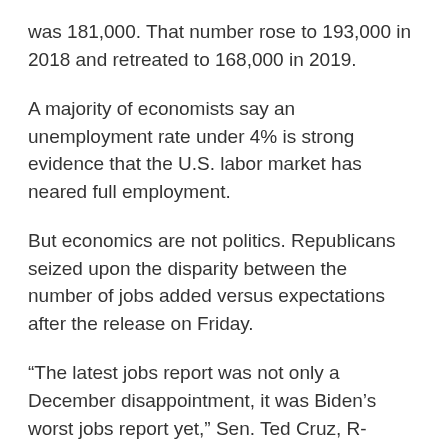was 181,000. That number rose to 193,000 in 2018 and retreated to 168,000 in 2019.
A majority of economists say an unemployment rate under 4% is strong evidence that the U.S. labor market has neared full employment.
But economics are not politics. Republicans seized upon the disparity between the number of jobs added versus expectations after the release on Friday.
“The latest jobs report was not only a December disappointment, it was Biden’s worst jobs report yet,” Sen. Ted Cruz, R-Texas, wrote in a Twitter post on Friday.
The House Republican conference explicitly